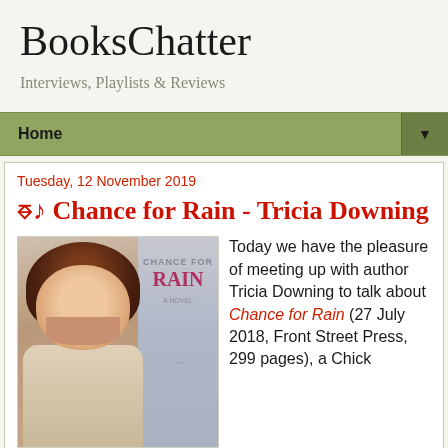BooksChatter
Interviews, Playlists & Reviews
Home ▼
Tuesday, 12 November 2019
⊕♩ Chance for Rain - Tricia Downing
[Figure (photo): Author Tricia Downing headshot beside the book cover of Chance for Rain]
Today we have the pleasure of meeting up with author Tricia Downing to talk about Chance for Rain (27 July 2018, Front Street Press, 299 pages), a Chick